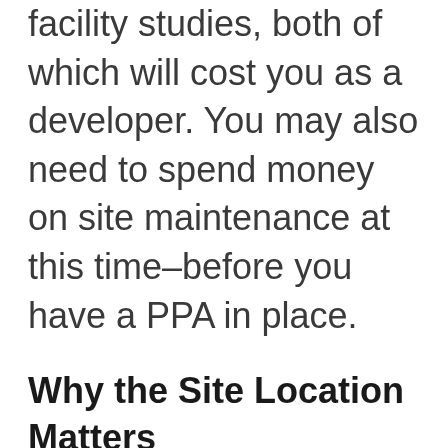facility studies, both of which will cost you as a developer. You may also need to spend money on site maintenance at this time–before you have a PPA in place.
Why the Site Location Matters
The location of the site also has a huge effect on a developer's likelihood of success and ability to interconnect in a cost-effective